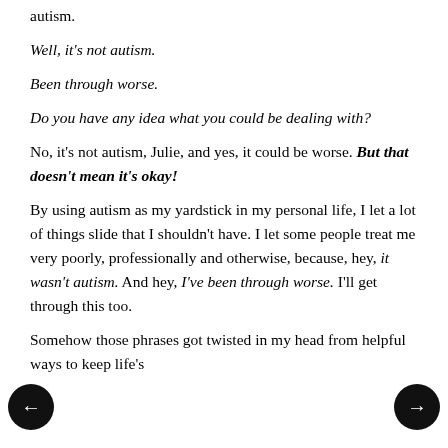autism.
Well, it's not autism.
Been through worse.
Do you have any idea what you could be dealing with?
No, it's not autism, Julie, and yes, it could be worse. But that doesn't mean it's okay!
By using autism as my yardstick in my personal life, I let a lot of things slide that I shouldn't have. I let some people treat me very poorly, professionally and otherwise, because, hey, it wasn't autism. And hey, I've been through worse. I'll get through this too.
Somehow those phrases got twisted in my head from helpful ways to keep life's